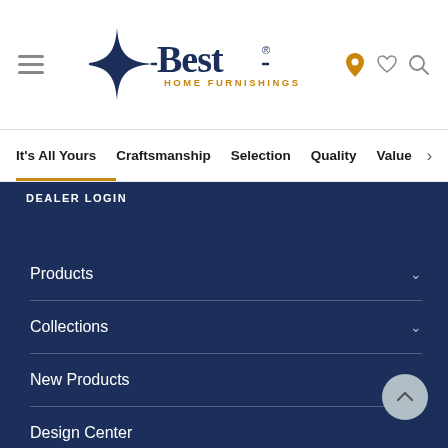[Figure (logo): Best Home Furnishings logo with four-pointed star and bold serif text]
It's All Yours | Craftsmanship | Selection | Quality | Value
DEALER LOGIN
Products
Collections
New Products
Design Center
About Us